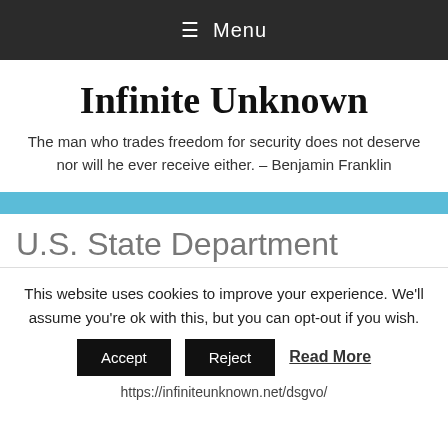≡ Menu
Infinite Unknown
The man who trades freedom for security does not deserve nor will he ever receive either. – Benjamin Franklin
U.S. State Department
This website uses cookies to improve your experience. We'll assume you're ok with this, but you can opt-out if you wish.
Accept   Reject   Read More
https://infiniteunknown.net/dsgvo/